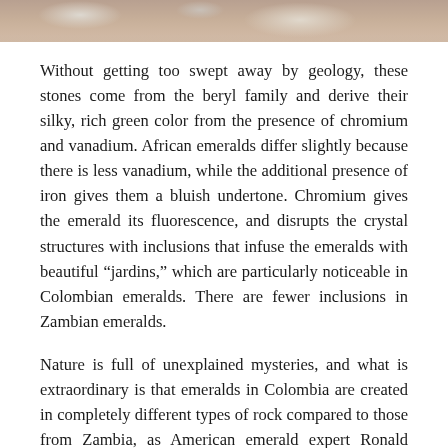[Figure (photo): Top portion of a photograph showing rocky or mineral terrain, partially cropped at the top of the page.]
Without getting too swept away by geology, these stones come from the beryl family and derive their silky, rich green color from the presence of chromium and vanadium. African emeralds differ slightly because there is less vanadium, while the additional presence of iron gives them a bluish undertone. Chromium gives the emerald its fluorescence, and disrupts the crystal structures with inclusions that infuse the emeralds with beautiful “jardins,” which are particularly noticeable in Colombian emeralds. There are fewer inclusions in Zambian emeralds.
Nature is full of unexplained mysteries, and what is extraordinary is that emeralds in Colombia are created in completely different types of rock compared to those from Zambia, as American emerald expert Ronald Ringsrud points out: “For years, geologists couldn’t understand how emeralds were formed.” Unlike most gemstones, the creation of emeralds can only happen when two different rock types come into contact with one another.